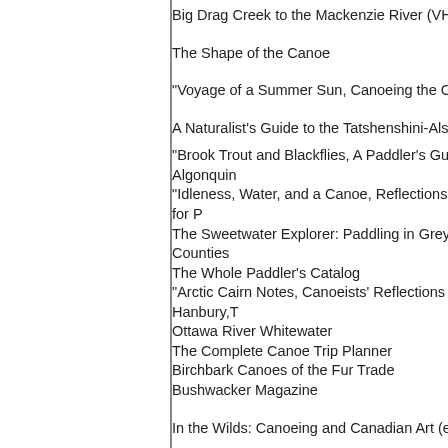Big Drag Creek to the Mackenzie River (VHS C...
The Shape of the Canoe
"Voyage of a Summer Sun, Canoeing the Colu...
A Naturalist's Guide to the Tatshenshini-Alsek
"Brook Trout and Blackflies, A Paddler's Guide... Algonquin
"Idleness, Water, and a Canoe, Reflections on... for P
The Sweetwater Explorer: Paddling in Grey ar... Counties
The Whole Paddler's Catalog
"Arctic Cairn Notes, Canoeists' Reflections on... Hanbury,T
Ottawa River Whitewater
The Complete Canoe Trip Planner
Birchbark Canoes of the Fur Trade
Bushwacker Magazine
In the Wilds: Canoeing and Canadian Art (exhi...
Voyageur Magazine
Superior Illusions